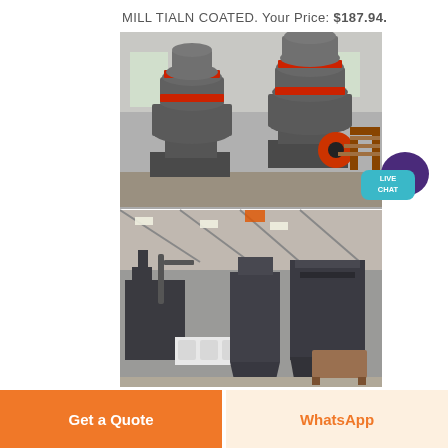MILL TIALN COATED. Your Price: $187.94.
[Figure (photo): Two gray industrial grinding mills with red bands on top inside a factory, and a large industrial facility interior with milling/dust collection equipment and bagged materials on the floor.]
[Figure (illustration): Live Chat button with speech bubble icon in teal and purple.]
Get a Quote
WhatsApp